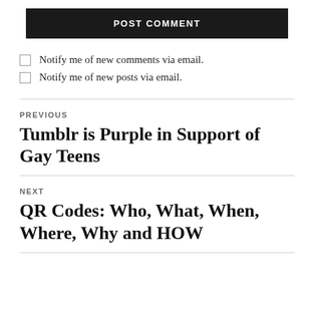POST COMMENT
Notify me of new comments via email.
Notify me of new posts via email.
PREVIOUS
Tumblr is Purple in Support of Gay Teens
NEXT
QR Codes: Who, What, When, Where, Why and HOW